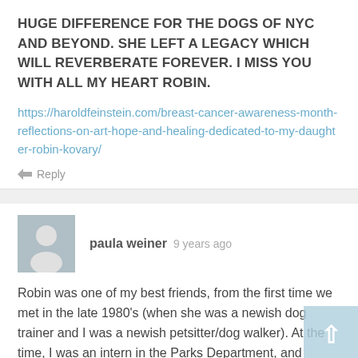HUGE DIFFERENCE FOR THE DOGS OF NYC AND BEYOND. SHE LEFT A LEGACY WHICH WILL REVERBERATE FOREVER. I MISS YOU WITH ALL MY HEART ROBIN.
https://haroldfeinstein.com/breast-cancer-awareness-month-reflections-on-art-hope-and-healing-dedicated-to-my-daughter-robin-kovary/
Reply
paula weiner  9 years ago
Robin was one of my best friends, from the first time we met in the late 1980's (when she was a newish dog trainer and I was a newish petsitter/dog walker). At the time, I was an intern in the Parks Department, and